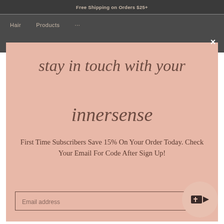Free Shipping on Orders $25+
Hair   Products   ...
×
stay in touch with your innersense
First Time Subscribers Save 15% On Your Order Today. Check Your Email For Code After Sign Up!
Email address